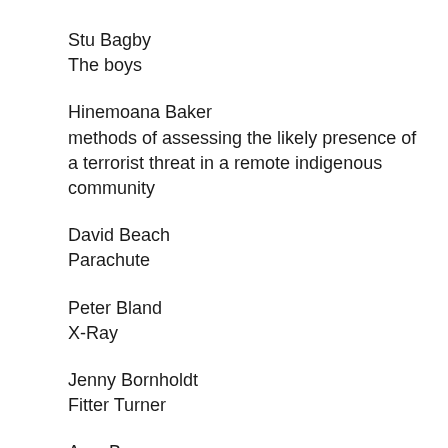Stu Bagby
The boys
Hinemoana Baker
methods of assessing the likely presence of a terrorist threat in a remote indigenous community
David Beach
Parachute
Peter Bland
X-Ray
Jenny Bornholdt
Fitter Turner
Amy Brown
The Propaganda Poster Girl
James Brown